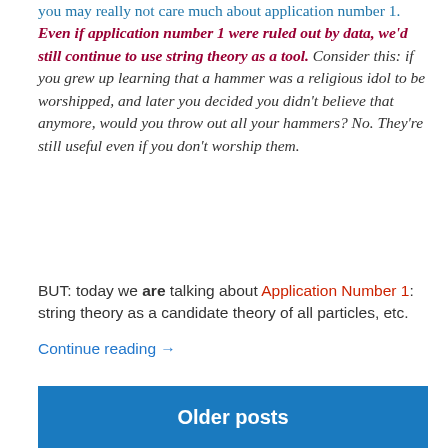you may really not care much about application number 1. Even if application number 1 were ruled out by data, we'd still continue to use string theory as a tool. Consider this: if you grew up learning that a hammer was a religious idol to be worshipped, and later you decided you didn't believe that anymore, would you throw out all your hammers? No. They're still useful even if you don't worship them.
BUT: today we are talking about Application Number 1: string theory as a candidate theory of all particles, etc.
Continue reading →
September 17, 2013
Older posts